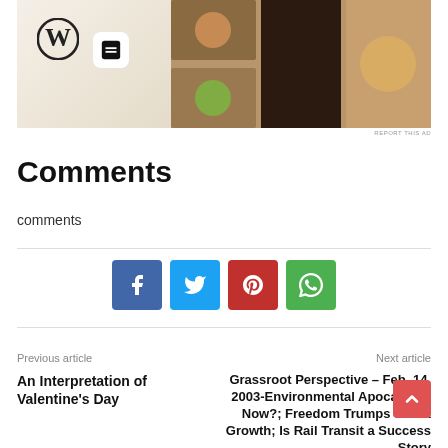[Figure (screenshot): Advertisement banner showing WordPress logo, Squarespace icon, and food/recipe magazine photos on a beige background]
REPORT THIS AD
Comments
comments
[Figure (infographic): Social share buttons: Facebook (blue), Twitter (cyan), Pinterest (red), WhatsApp (green)]
Previous article
Next article
An Interpretation of Valentine's Day
Grassroot Perspective – Feb. 14, 2003-Environmental Apocalypse Now?; Freedom Trumps Smart Growth; Is Rail Transit a Success Story